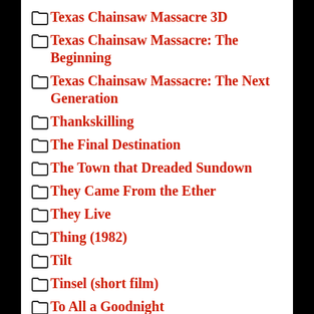Texas Chainsaw Massacre 3D
Texas Chainsaw Massacre: The Beginning
Texas Chainsaw Massacre: The Next Generation
Thankskilling
The Final Destination
The Town that Dreaded Sundown
They Came From the Ether
They Live
Thing (1982)
Tilt
Tinsel (short film)
To All a Goodnight
Tommyknockers
Torment
Total Recall (1990)